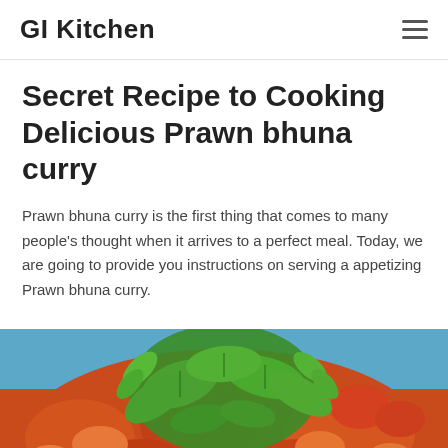GI Kitchen
Secret Recipe to Cooking Delicious Prawn bhuna curry
Prawn bhuna curry is the first thing that comes to many people's thought when it arrives to a perfect meal. Today, we are going to provide you instructions on serving a appetizing Prawn bhuna curry.
[Figure (photo): Close-up photo of prawn bhuna curry in a blue bowl, with orange-red tomato-based curry sauce, prawns, and fresh green coriander/cilantro leaves on top]